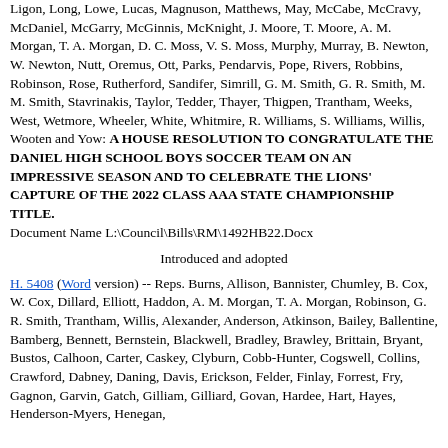Ligon, Long, Lowe, Lucas, Magnuson, Matthews, May, McCabe, McCravy, McDaniel, McGarry, McGinnis, McKnight, J. Moore, T. Moore, A. M. Morgan, T. A. Morgan, D. C. Moss, V. S. Moss, Murphy, Murray, B. Newton, W. Newton, Nutt, Oremus, Ott, Parks, Pendarvis, Pope, Rivers, Robbins, Robinson, Rose, Rutherford, Sandifer, Simrill, G. M. Smith, G. R. Smith, M. M. Smith, Stavrinakis, Taylor, Tedder, Thayer, Thigpen, Trantham, Weeks, West, Wetmore, Wheeler, White, Whitmire, R. Williams, S. Williams, Willis, Wooten and Yow: A HOUSE RESOLUTION TO CONGRATULATE THE DANIEL HIGH SCHOOL BOYS SOCCER TEAM ON AN IMPRESSIVE SEASON AND TO CELEBRATE THE LIONS' CAPTURE OF THE 2022 CLASS AAA STATE CHAMPIONSHIP TITLE.
Document Name L:\Council\Bills\RM\1492HB22.Docx
Introduced and adopted
H. 5408 (Word version) -- Reps. Burns, Allison, Bannister, Chumley, B. Cox, W. Cox, Dillard, Elliott, Haddon, A. M. Morgan, T. A. Morgan, Robinson, G. R. Smith, Trantham, Willis, Alexander, Anderson, Atkinson, Bailey, Ballentine, Bamberg, Bennett, Bernstein, Blackwell, Bradley, Brawley, Brittain, Bryant, Bustos, Calhoon, Carter, Caskey, Clyburn, Cobb-Hunter, Cogswell, Collins, Crawford, Dabney, Daning, Davis, Erickson, Felder, Finlay, Forrest, Fry, Gagnon, Garvin, Gatch, Gilliam, Gilliard, Govan, Hardee, Hart, Hayes, Henderson-Myers, Henegan,